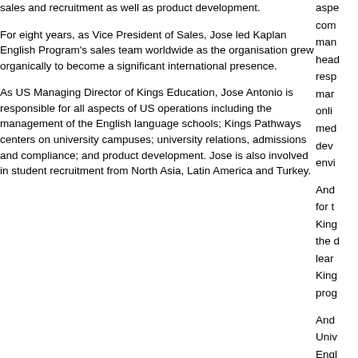sales and recruitment as well as product development.
For eight years, as Vice President of Sales, Jose led Kaplan English Program's sales team worldwide as the organisation grew organically to become a significant international presence.
As US Managing Director of Kings Education, Jose Antonio is responsible for all aspects of US operations including the management of the English language schools; Kings Pathways centers on university campuses; university relations, admissions and compliance; and product development. Jose is also involved in student recruitment from North Asia, Latin America and Turkey.
aspe comm mana head respo mark onlin medi deve envi
Andr for th Kings the d learn Kings prog
Andr Unive Engli